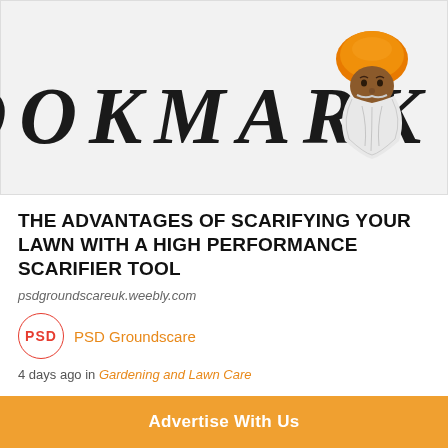[Figure (logo): Bookmark logo with stylized uppercase letters and a Sikh guru illustration wearing an orange turban and white beard on the right side]
THE ADVANTAGES OF SCARIFYING YOUR LAWN WITH A HIGH PERFORMANCE SCARIFIER TOOL
psdgroundscareuk.weebly.com
PSD Groundscare
4 days ago in Gardening and Lawn Care
the help of a heavy duty lawn scarifier, you can surely remove all
Advertise With Us